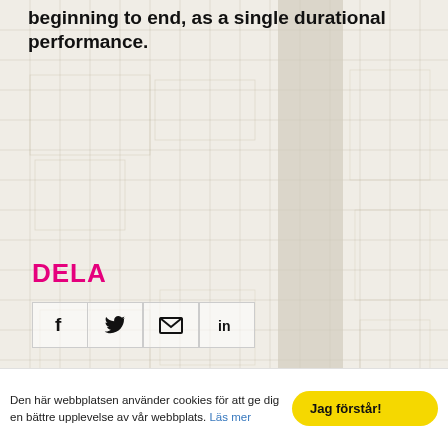beginning to end, as a single durational performance.
DELA
[Figure (infographic): Social sharing icons row: Facebook (f), Twitter (bird/tweet), Email (envelope), LinkedIn (in), each in a bordered box]
[Figure (illustration): Faded map background with grid lines and a light grey vertical road stripe. Watermark text 'Katarina-Löjström' visible at bottom left. Yellow square accent block.]
Den här webbplatsen använder cookies för att ge dig en bättre upplevelse av vår webbplats. Läs mer
Jag förstår!